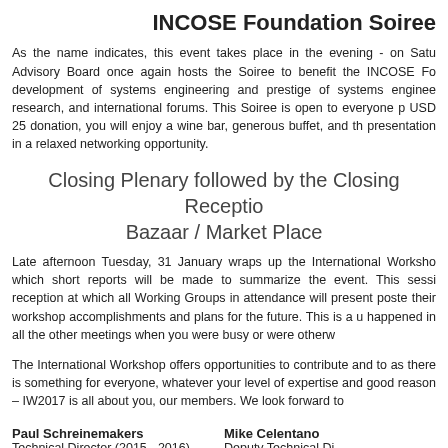INCOSE Foundation Soiree
As the name indicates, this event takes place in the evening - on Saturday. The Advisory Board once again hosts the Soiree to benefit the INCOSE Foundation and the development of systems engineering and prestige of systems engineers through education, research, and international forums. This Soiree is open to everyone participating. For a USD 25 donation, you will enjoy a wine bar, generous buffet, and the Foundation's presentation in a relaxed networking opportunity.
Closing Plenary followed by the Closing Reception / Bazaar / Market Place
Late afternoon Tuesday, 31 January wraps up the International Workshop in a Plenary at which short reports will be made to summarize the event. This session is followed by a reception at which all Working Groups in attendance will present posters highlighting their workshop accomplishments and plans for the future. This is a unique way to find out what happened in all the other meetings when you were busy or were otherwise engaged.
The International Workshop offers opportunities to contribute and to as... there is something for everyone, whatever your level of expertise and... good reason – IW2017 is all about you, our members. We look forward to...
Paul Schreinemakers
Technical Director (2015 - 2016)
Mike Celentano
Deputy Technical Di...
Technical Director (2...
David Endler